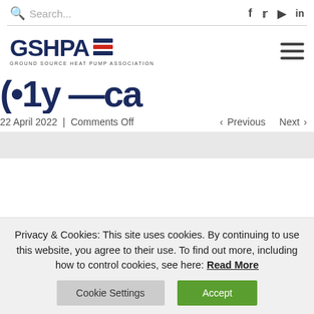Search... | f | twitter | youtube | in
[Figure (logo): GSHPA Ground Source Heat Pump Association logo with blue text and red/blue bar icon]
(•1y —ca
22 April 2022 | Comments Off
< Previous   Next >
Privacy & Cookies: This site uses cookies. By continuing to use this website, you agree to their use. To find out more, including how to control cookies, see here: Read More
Cookie Settings | Accept